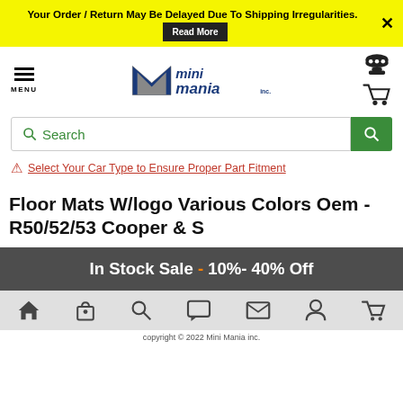Your Order / Return May Be Delayed Due To Shipping Irregularities. Read More
[Figure (logo): Mini Mania Inc. logo with stylized M and blue/gray text]
Search
⚠ Select Your Car Type to Ensure Proper Part Fitment
Floor Mats W/logo Various Colors Oem - R50/52/53 Cooper & S
In Stock Sale - 10%- 40% Off
copyright © 2022 Mini Mania inc.